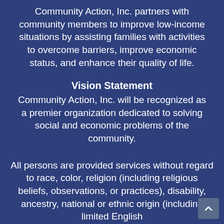Community Action, Inc. partners with community members to improve low-income situations by assisting families with activities to overcome barriers, improve economic status, and enhance their quality of life.
Vision Statement
Community Action, Inc. will be recognized as a premier organization dedicated to solving social and economic problems of the community.
All persons are provided services without regard to race, color, religion (including religious beliefs, observations, or practices), disability, ancestry, national or ethnic origin (including limited English